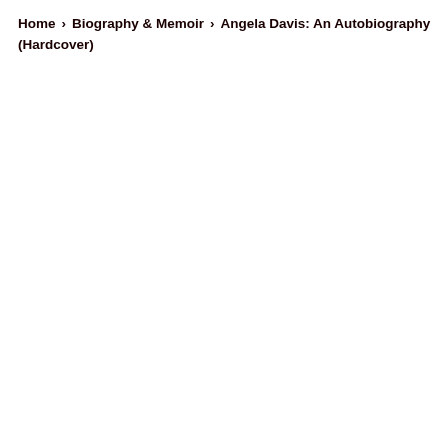Home › Biography & Memoir › Angela Davis: An Autobiography (Hardcover)